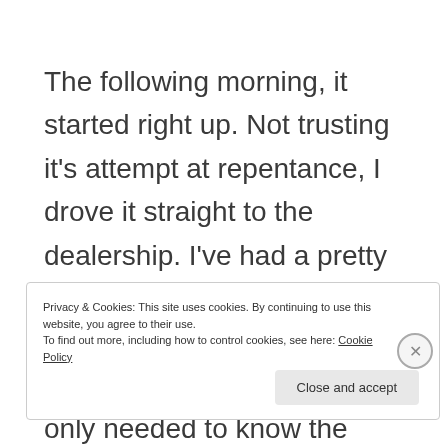The following morning, it started right up. Not trusting it's attempt at repentance, I drove it straight to the dealership. I've had a pretty good relationship with these guys. They've been honest and expensive, but this time I only needed to know the problem. I'd take it from there.
Privacy & Cookies: This site uses cookies. By continuing to use this website, you agree to their use.
To find out more, including how to control cookies, see here: Cookie Policy